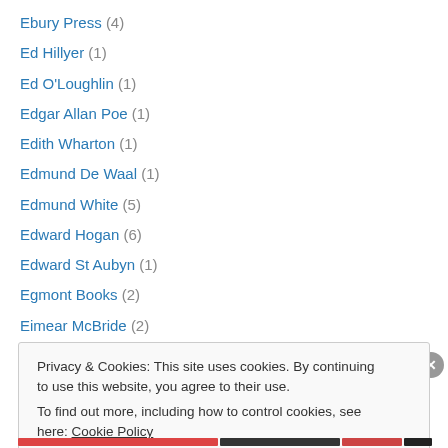Ebury Press (4)
Ed Hillyer (1)
Ed O'Loughlin (1)
Edgar Allan Poe (1)
Edith Wharton (1)
Edmund De Waal (1)
Edmund White (5)
Edward Hogan (6)
Edward St Aubyn (1)
Egmont Books (2)
Eimear McBride (2)
Elaine Di Rollo (1)
Eleanor Wasserberg (1)
Privacy & Cookies: This site uses cookies. By continuing to use this website, you agree to their use. To find out more, including how to control cookies, see here: Cookie Policy
Close and accept